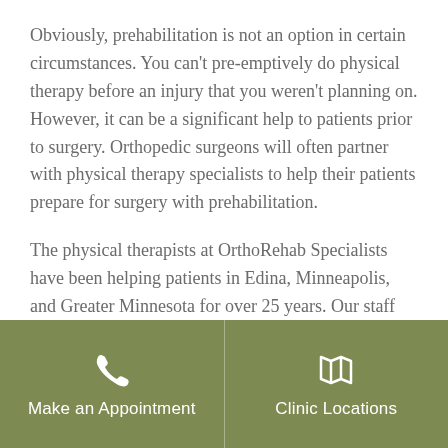Obviously, prehabilitation is not an option in certain circumstances. You can't pre-emptively do physical therapy before an injury that you weren't planning on. However, it can be a significant help to patients prior to surgery. Orthopedic surgeons will often partner with physical therapy specialists to help their patients prepare for surgery with prehabilitation.
The physical therapists at OrthoRehab Specialists have been helping patients in Edina, Minneapolis, and Greater Minnesota for over 25 years. Our staff and the knowledge and expertise to help you regain strength and mobility after an injury or surgery. Contact us
[Figure (infographic): Olive/khaki green footer bar with two columns: left column shows a phone icon above 'Make an Appointment' text, right column shows a map/location icon above 'Clinic Locations' text]